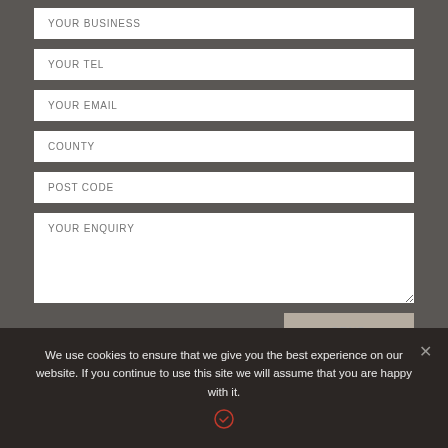[Figure (screenshot): Web contact form with input fields: YOUR BUSINESS, YOUR TEL, YOUR EMAIL, COUNTY, POST CODE, YOUR ENQUIRY (textarea), and a SEND button, displayed on a dark grey background.]
We use cookies to ensure that we give you the best experience on our website. If you continue to use this site we will assume that you are happy with it.